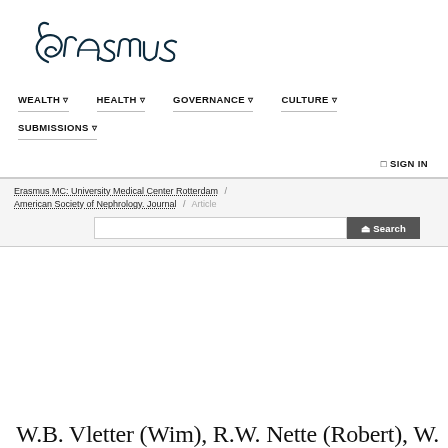[Figure (logo): Erasmus university logo in handwritten/cursive script style]
WEALTH  HEALTH  GOVERNANCE  CULTURE  SUBMISSIONS  SIGN IN
Erasmus MC: University Medical Center Rotterdam / American Society of Nephrology. Journal / Article
W.B. Vletter (Wim), R.W. Nette (Robert), W.